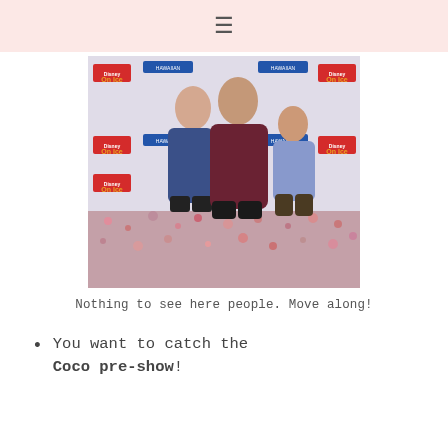≡
[Figure (photo): Three people (two girls and an adult woman) posing in front of a Disney On Ice 'Dare to Dream' step-and-repeat banner with Hawaiian Airlines logo. Ground covered in colorful confetti.]
Nothing to see here people. Move along!
You want to catch the Coco pre-show!